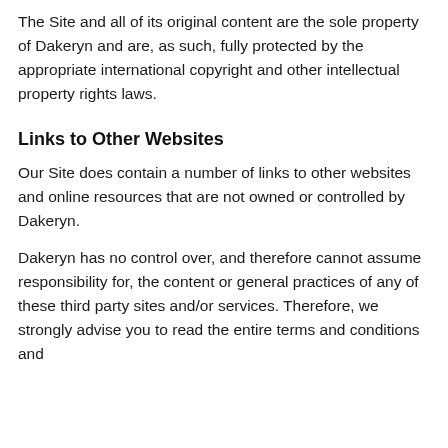The Site and all of its original content are the sole property of Dakeryn and are, as such, fully protected by the appropriate international copyright and other intellectual property rights laws.
Links to Other Websites
Our Site does contain a number of links to other websites and online resources that are not owned or controlled by Dakeryn.
Dakeryn has no control over, and therefore cannot assume responsibility for, the content or general practices of any of these third party sites and/or services. Therefore, we strongly advise you to read the entire terms and conditions and privacy policy of any website that you visit.